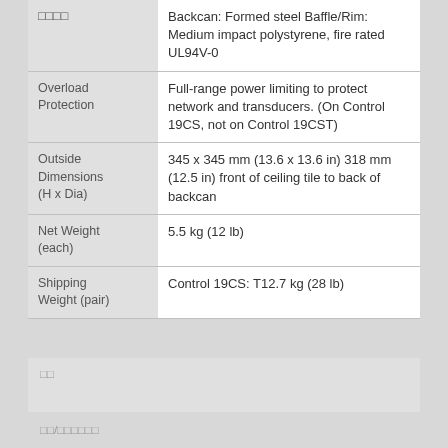| Property | Value |
| --- | --- |
| □□□□ | Backcan: Formed steel Baffle/Rim: Medium impact polystyrene, fire rated UL94V-0 |
| Overload Protection | Full-range power limiting to protect network and transducers. (On Control 19CS, not on Control 19CST) |
| Outside Dimensions (H x Dia) | 345 x 345 mm (13.6 x 13.6 in) 318 mm (12.5 in) front of ceiling tile to back of backcan |
| Net Weight (each) | 5.5 kg (12 lb) |
| Shipping Weight (pair) | Control 19CS: T12.7 kg (28 lb) |
□□
□□/□□□□□□